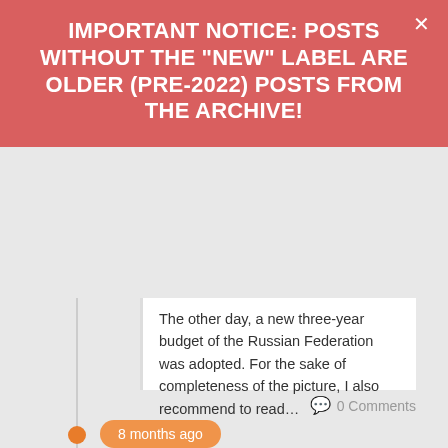IMPORTANT NOTICE: POSTS WITHOUT THE "NEW" LABEL ARE OLDER (PRE-2022) POSTS FROM THE ARCHIVE!
The other day, a new three-year budget of the Russian Federation was adopted. For the sake of completeness of the picture, I also recommend to read…
0 Comments
8 months ago
[Figure (photo): Portrait photo of a man in a suit against a dark background]